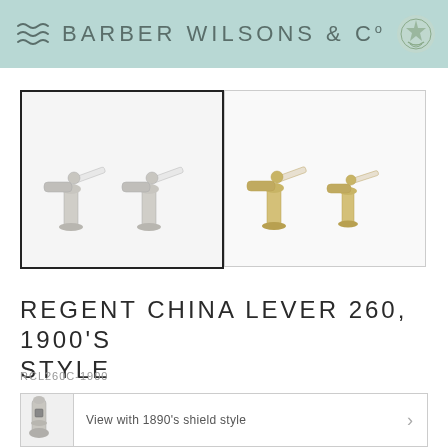BARBER WILSONS & Co
[Figure (photo): Two chrome/nickel lever basin taps with white china lever handles, shown in selected view with black border]
[Figure (photo): Two gold/brass lever basin taps with white china lever handles, shown in unselected view]
REGENT CHINA LEVER 260, 1900'S STYLE
RCL260C-1900
[Figure (photo): Small thumbnail of a chrome tap with 1890's shield style backplate]
View with 1890's shield style